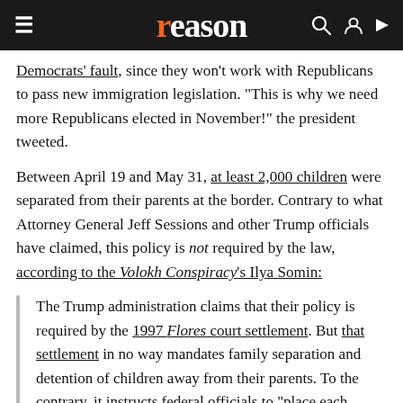reason
Democrats' fault, since they won't work with Republicans to pass new immigration legislation. "This is why we need more Republicans elected in November!" the president tweeted.
Between April 19 and May 31, at least 2,000 children were separated from their parents at the border. Contrary to what Attorney General Jeff Sessions and other Trump officials have claimed, this policy is not required by the law, according to the Volokh Conspiracy's Ilya Somin:
The Trump administration claims that their policy is required by the 1997 Flores court settlement. But that settlement in no way mandates family separation and detention of children away from their parents. To the contrary, it instructs federal officials to "place each detained minor in the least restrictive setting appropriate" and to release them to the custody of